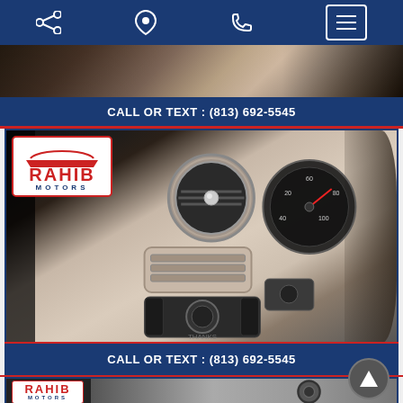Navigation bar with share, location, phone, and menu icons
[Figure (photo): Partial car interior photo at top of page (cropped)]
CALL OR TEXT : (813) 692-5545
[Figure (photo): Car interior close-up showing round AC vent, speedometer, light control knob, and Rahib Motors logo overlay. Dashboard is beige/cream color.]
CALL OR TEXT : (813) 692-5545
[Figure (photo): Third car photo (partially visible) with Rahib Motors logo overlay]
[Figure (logo): Scroll-to-top button (circle with up arrow)]